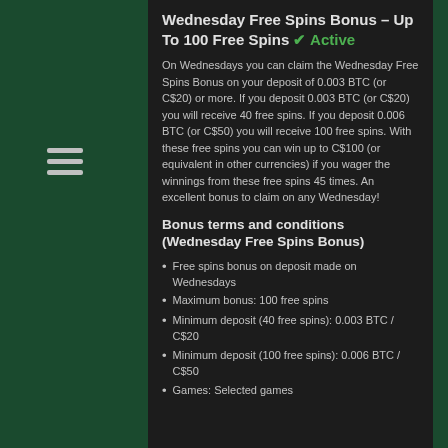Wednesday Free Spins Bonus – Up To 100 Free Spins ✔ Active
On Wednesdays you can claim the Wednesday Free Spins Bonus on your deposit of 0.003 BTC (or C$20) or more. If you deposit 0.003 BTC (or C$20) you will receive 40 free spins. If you deposit 0.006 BTC (or C$50) you will receive 100 free spins. With these free spins you can win up to C$100 (or equivalent in other currencies) if you wager the winnings from these free spins 45 times. An excellent bonus to claim on any Wednesday!
Bonus terms and conditions (Wednesday Free Spins Bonus)
Free spins bonus on deposit made on Wednesdays
Maximum bonus: 100 free spins
Minimum deposit (40 free spins): 0.003 BTC / C$20
Minimum deposit (100 free spins): 0.006 BTC / C$50
Games: Selected games